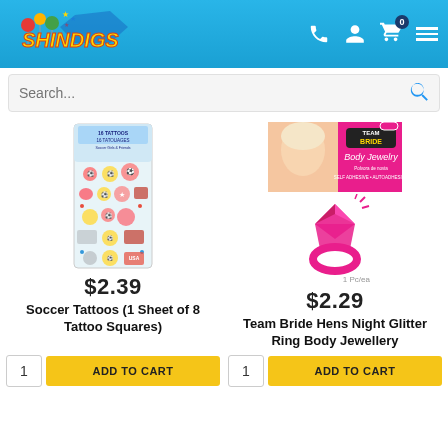[Figure (screenshot): Shindigs party store website header with logo, search bar, and two product listings: Soccer Tattoos at $2.39 and Team Bride Hens Night Glitter Ring Body Jewellery at $2.29, each with quantity field and ADD TO CART button.]